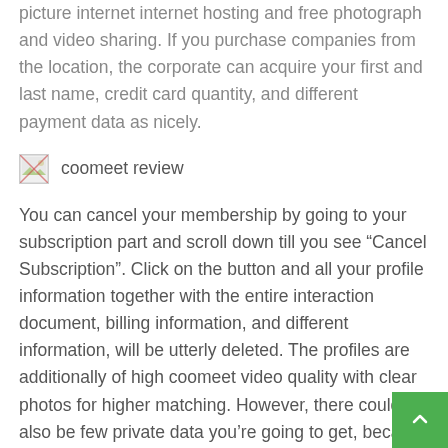picture internet internet hosting and free photograph and video sharing. If you purchase companies from the location, the corporate can acquire your first and last name, credit card quantity, and different payment data as nicely.
[Figure (illustration): Small broken/placeholder image icon followed by the text 'coomeet review']
You can cancel your membership by going to your subscription part and scroll down till you see “Cancel Subscription”. Click on the button and all your profile information together with the entire interaction document, billing information, and different information, will be utterly deleted. The profiles are additionally of high coomeet video quality with clear photos for higher matching. However, there could also be few private data you’re going to get, because of the...